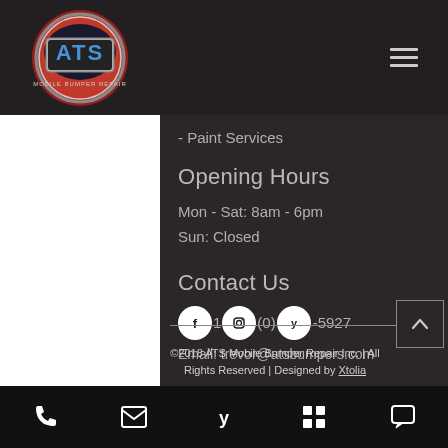[Figure (logo): ATS Mobile Bumper Repair circular logo with red and chrome styling]
- Paint Services
Opening Hours
Mon - Sat: 8am - 6pm
Sun: Closed
Contact Us
(phone number partially obscured by social icons) -5927
Email: trevor@atsbumpers.com
©2018 ATS Mobile Bumper Repair Inc. | All Rights Reserved | Designed by Xtolia